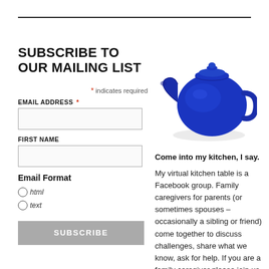SUBSCRIBE TO OUR MAILING LIST
* indicates required
EMAIL ADDRESS *
FIRST NAME
Email Format
html
text
SUBSCRIBE
[Figure (photo): Blue ceramic teapot]
Come into my kitchen, I say.
My virtual kitchen table is a Facebook group. Family caregivers for parents (or sometimes spouses – occasionally a sibling or friend) come together to discuss challenges, share what we know, ask for help. If you are a family caregiver please join us at